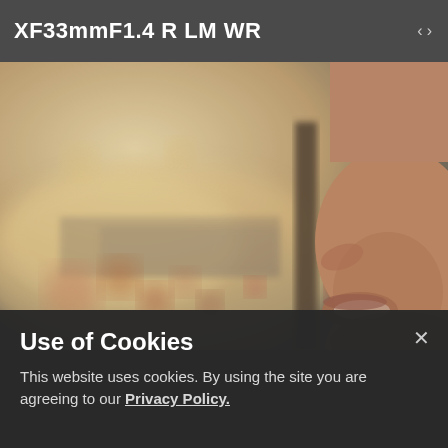XF33mmF1.4 R LM WR
[Figure (photo): Close-up profile of a person's face (lower half, smiling) looking out of a window with a blurred bokeh background of warm golden light, street lights, and traffic.]
Use of Cookies
This website uses cookies. By using the site you are agreeing to our Privacy Policy.